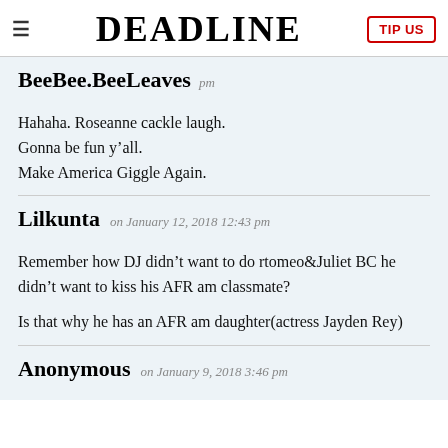DEADLINE
BeeBee.BeeLeaves
Hahaha. Roseanne cackle laugh.
Gonna be fun y’all.
Make America Giggle Again.
Lilkunta on January 12, 2018 12:43 pm
Remember how DJ didn’t want to do rtomeo&Juliet BC he didn’t want to kiss his AFR am classmate?

Is that why he has an AFR am daughter(actress Jayden Rey)
Anonymous on January 9, 2018 3:46 pm